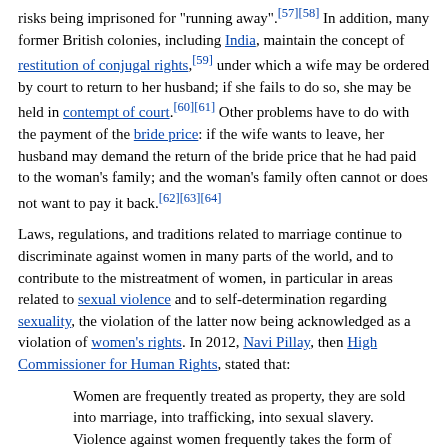risks being imprisoned for "running away".[57][58] In addition, many former British colonies, including India, maintain the concept of restitution of conjugal rights,[59] under which a wife may be ordered by court to return to her husband; if she fails to do so, she may be held in contempt of court.[60][61] Other problems have to do with the payment of the bride price: if the wife wants to leave, her husband may demand the return of the bride price that he had paid to the woman's family; and the woman's family often cannot or does not want to pay it back.[62][63][64]
Laws, regulations, and traditions related to marriage continue to discriminate against women in many parts of the world, and to contribute to the mistreatment of women, in particular in areas related to sexual violence and to self-determination regarding sexuality, the violation of the latter now being acknowledged as a violation of women's rights. In 2012, Navi Pillay, then High Commissioner for Human Rights, stated that:
Women are frequently treated as property, they are sold into marriage, into trafficking, into sexual slavery. Violence against women frequently takes the form of sexual violence. Victims of such violence are often accused of promiscuity and held responsible for their fate, while infertile women are rejected by husbands,